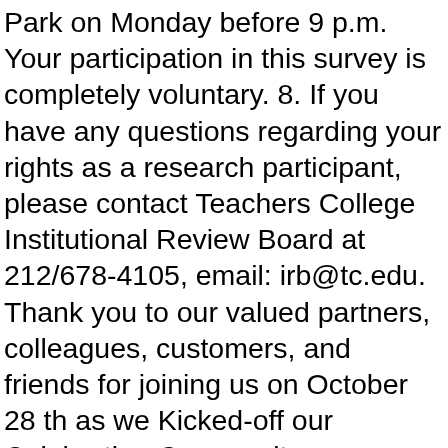Park on Monday before 9 p.m. Your participation in this survey is completely voluntary. 8. If you have any questions regarding your rights as a research participant, please contact Teachers College Institutional Review Board at 212/678-4105, email: irb@tc.edu. Thank you to our valued partners, colleagues, customers, and friends for joining us on October 28 th as we Kicked-off our Celebrating Community Campaign. Select "I have a Voucher" if you receive Government rent assistance. Your session is about to expire! Maids Quarters or Guest Bedroom with own private access and full bath. A randomly selected group of study participants will be offered school information from GreatSchools in addition to the usual housing listings on GoSection8. Amagansett. If you believe that you have been discriminated against in seeking housing, please call Long Island Housing Services at 631-567-5111 ext. Closed: Suffolk County, NY Housing Choice Voucher Waiting List. Your session is about to expire! HOUSING CHOICE VOUCHER PROGRAM/SECTION 8. Find a section 8 rental, landlords, tenants, housing authorities. Find a section 8 tenant